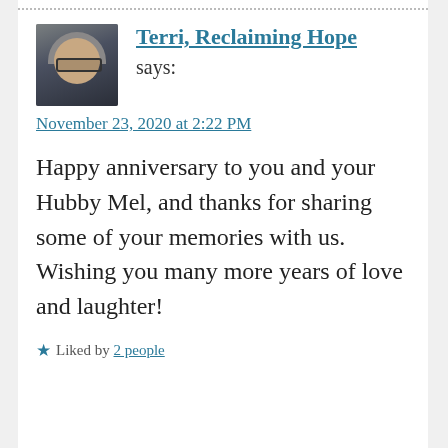[Figure (photo): Avatar photo of a woman with gray hair and glasses]
Terri, Reclaiming Hope
says:
November 23, 2020 at 2:22 PM
Happy anniversary to you and your Hubby Mel, and thanks for sharing some of your memories with us. Wishing you many more years of love and laughter!
★ Liked by 2 people